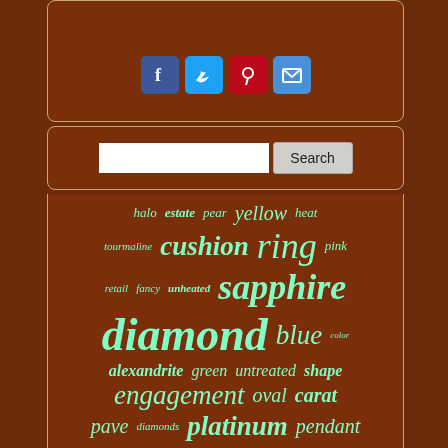[Figure (infographic): Social sharing buttons: Facebook (blue), Twitter (blue), Pinterest (red), Email (blue) on a dark brown rounded panel]
[Figure (screenshot): Search input box with Search button on dark brown rounded panel]
[Figure (infographic): Tag cloud of jewelry/gemstone keywords: halo, estate, pear, yellow, heat, tourmaline, cushion, ring, pink, retail, fancy, unheated, sapphire, diamond, blue, color, alexandrite, green, untreated, shape, engagement, oval, carat, pave, diamonds, platinum, pendant, gold, certified, loose, paratha — rendered in mint green italic text on dark brown background, varying font sizes indicating frequency]